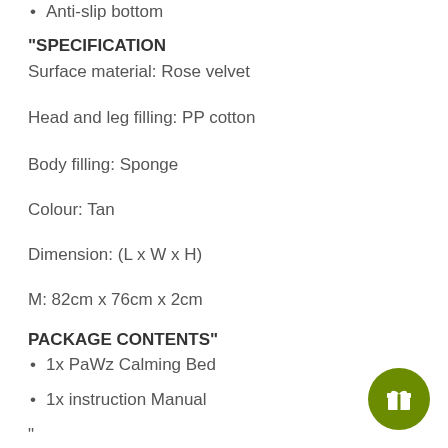Anti-slip bottom
"SPECIFICATION
Surface material: Rose velvet
Head and leg filling: PP cotton
Body filling: Sponge
Colour: Tan
Dimension: (L x W x H)
M: 82cm x 76cm x 2cm
PACKAGE CONTENTS"
1x PaWz Calming Bed
1x instruction Manual
"